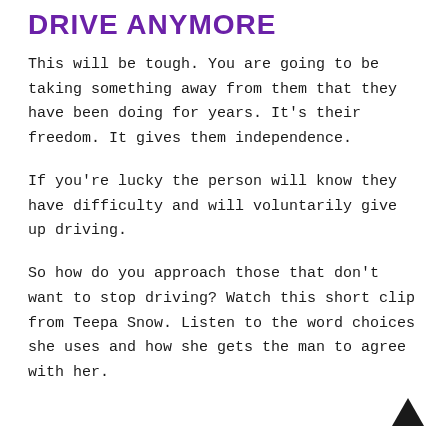DRIVE ANYMORE
This will be tough. You are going to be taking something away from them that they have been doing for years. It's their freedom. It gives them independence.
If you're lucky the person will know they have difficulty and will voluntarily give up driving.
So how do you approach those that don't want to stop driving? Watch this short clip from Teepa Snow. Listen to the word choices she uses and how she gets the man to agree with her.